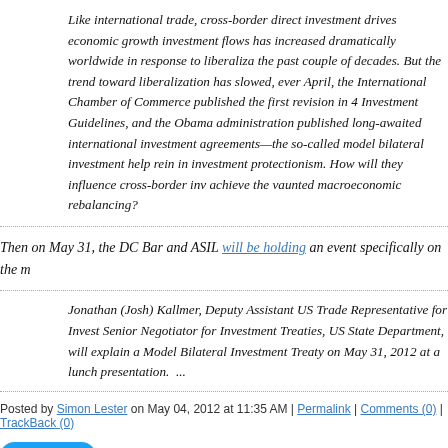Like international trade, cross-border direct investment drives economic growth... investment flows has increased dramatically worldwide in response to liberaliza... the past couple of decades. But the trend toward liberalization has slowed, ever... April, the International Chamber of Commerce published the first revision in 40... Investment Guidelines, and the Obama administration published long-awaited... international investment agreements—the so-called model bilateral investment... help rein in investment protectionism. How will they influence cross-border inv... achieve the vaunted macroeconomic rebalancing?
Then on May 31, the DC Bar and ASIL will be holding an event specifically on the m...
Jonathan (Josh) Kallmer, Deputy Assistant US Trade Representative for Invest... Senior Negotiator for Investment Treaties, US State Department, will explain a... Model Bilateral Investment Treaty on May 31, 2012 at a lunch presentation.  ...
Posted by Simon Lester on May 04, 2012 at 11:35 AM | Permalink | Comments (0) | TrackBack (0)